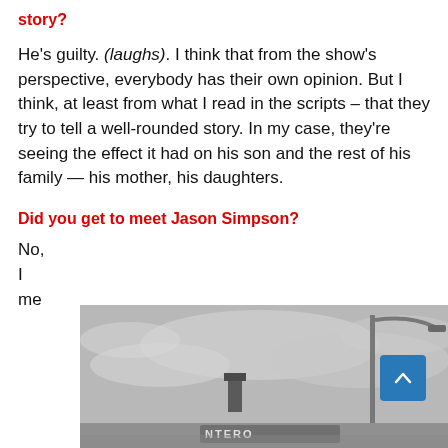story?
He's guilty. (laughs). I think that from the show's perspective, everybody has their own opinion. But I think, at least from what I read in the scripts – that they try to tell a well-rounded story. In my case, they're seeing the effect it had on his son and the rest of his family — his mother, his daughters.
Did you get to meet Jason Simpson?
No, I me...
[Figure (photo): Black and white photo showing a street lamp and overcast sky, with partial text visible at the bottom that appears to read something related to a location sign.]